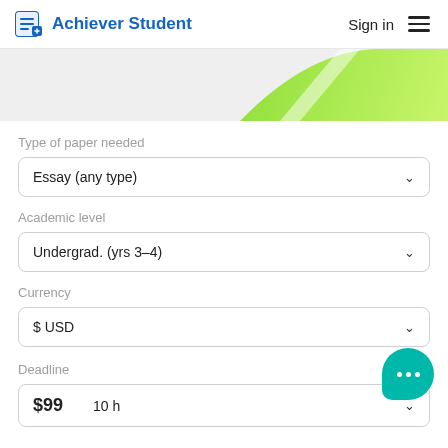Achiever Student — Sign in
[Figure (illustration): Green gradient hero banner image partial view]
Type of paper needed
Essay (any type)
Academic level
Undergrad. (yrs 3–4)
Currency
$ USD
Deadline